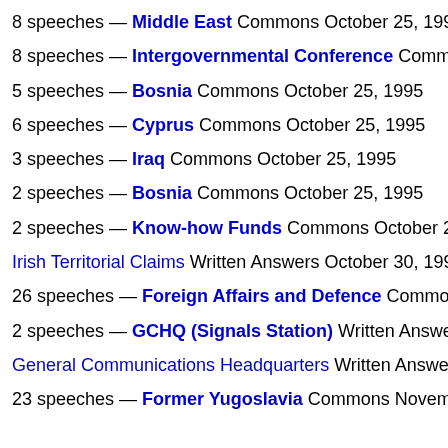8 speeches — Middle East Commons October 25, 1995
8 speeches — Intergovernmental Conference Commons Oc…
5 speeches — Bosnia Commons October 25, 1995
6 speeches — Cyprus Commons October 25, 1995
3 speeches — Iraq Commons October 25, 1995
2 speeches — Bosnia Commons October 25, 1995
2 speeches — Know-how Funds Commons October 25, 1995
Irish Territorial Claims Written Answers October 30, 1995
26 speeches — Foreign Affairs and Defence Commons Nov…
2 speeches — GCHQ (Signals Station) Written Answers Nov…
General Communications Headquarters Written Answers Nove…
23 speeches — Former Yugoslavia Commons November 22,…